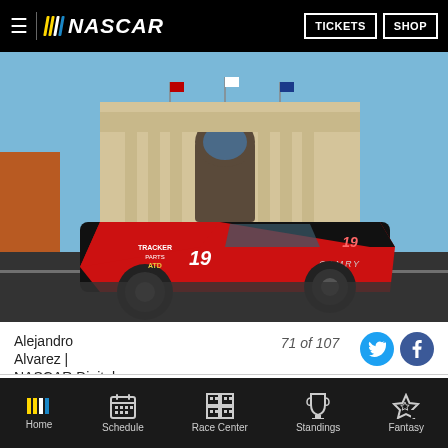NASCAR | TICKETS | SHOP
[Figure (photo): NASCAR race car number 19 (Tracker/Bass Pro Shops Toyota Camry) on a street circuit in front of a large coliseum-style building with an arched entrance, under a blue sky.]
Alejandro Alvarez | NASCAR Digital Media  71 of 107
[Figure (infographic): NASCAR advertisement banner: NASCAR logo with multicolor stripes, BUY TICKETS! button in red, race car image, text YOU'VE GOTTA BE THERE!]
Home  Schedule  Race Center  Standings  Fantasy